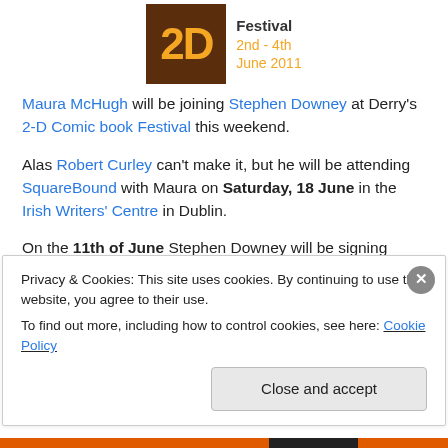[Figure (logo): 2-D Comic Book Festival logo: brown square with orange '2D' text, beside 'Festival 2nd - 4th June 2011' text]
Maura McHugh will be joining Stephen Downey at Derry's 2-D Comic book Festival this weekend.
Alas Robert Curley can't make it, but he will be attending SquareBound with Maura on Saturday, 18 June in the Irish Writers' Centre in Dublin.
On the 11th of June Stephen Downey will be signing copies of his Glengattie or Gormlaith at Forbidden...
Privacy & Cookies: This site uses cookies. By continuing to use this website, you agree to their use.
To find out more, including how to control cookies, see here: Cookie Policy